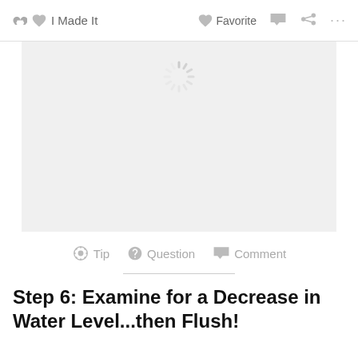I Made It   Favorite   Comment   Share   ...
[Figure (screenshot): Large image placeholder with a loading spinner in the upper center area, shown on a light gray background]
Tip   Question   Comment
Step 6: Examine for a Decrease in Water Level...then Flush!